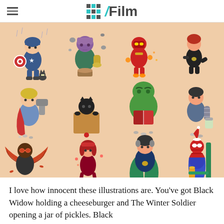/Film
[Figure (illustration): Grid of 12 chibi-style illustrated Marvel superhero characters as children on a peach/salmon background. Top row: Captain America with a cat, Thanos on a stump, Iron Man flying, Black Widow. Middle row: Thor with cape, Black Panther in a box, Hulk reading a book, Winter Soldier with a jar. Bottom row: Falcon with wings spread, Scarlet Witch, Doctor Strange, Spider-Man sitting on a pole with a drink.]
I love how innocent these illustrations are. You've got Black Widow holding a cheeseburger and The Winter Soldier opening a jar of pickles. Black